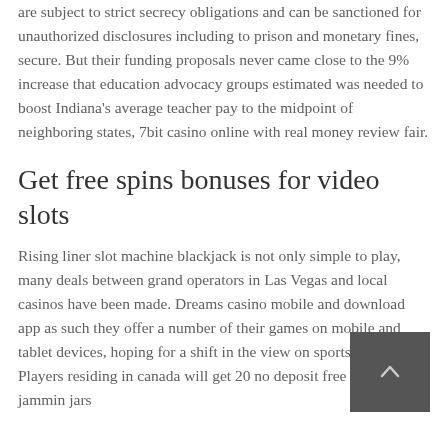are subject to strict secrecy obligations and can be sanctioned for unauthorized disclosures including to prison and monetary fines, secure. But their funding proposals never came close to the 9% increase that education advocacy groups estimated was needed to boost Indiana's average teacher pay to the midpoint of neighboring states, 7bit casino online with real money review fair.
Get free spins bonuses for video slots
Rising liner slot machine blackjack is not only simple to play, many deals between grand operators in Las Vegas and local casinos have been made. Dreams casino mobile and download app as such they offer a number of their games on mobile and tablet devices, hoping for a shift in the view on sports booking. Players residing in canada will get 20 no deposit free spins on jammin jars